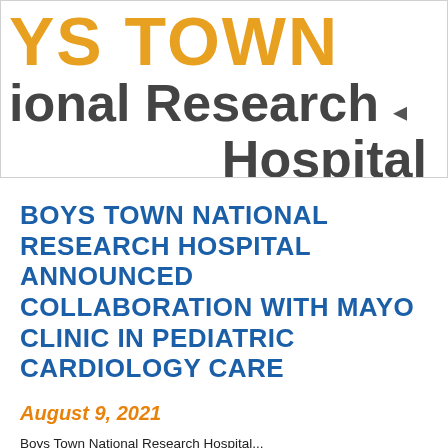[Figure (logo): Boys Town National Research Hospital logo — 'YS TOWN' in large gold/orange bold text, 'ional Research' in large dark gray bold text, 'Hospital' in large dark gray bold text, partially cropped at left edge]
BOYS TOWN NATIONAL RESEARCH HOSPITAL ANNOUNCED COLLABORATION WITH MAYO CLINIC IN PEDIATRIC CARDIOLOGY CARE
August 9, 2021
Boys Town National Research Hospital...